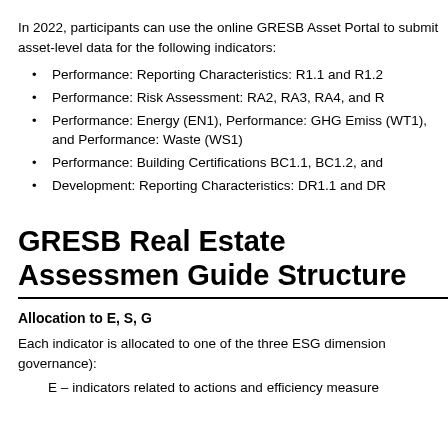In 2022, participants can use the online GRESB Asset Portal to submit asset-level data for the following indicators:
Performance: Reporting Characteristics: R1.1 and R1.2
Performance: Risk Assessment: RA2, RA3, RA4, and R
Performance: Energy (EN1), Performance: GHG Emissions (WT1), and Performance: Waste (WS1)
Performance: Building Certifications BC1.1, BC1.2, and
Development: Reporting Characteristics: DR1.1 and DR
GRESB Real Estate Assessment Guide Structure
Allocation to E, S, G
Each indicator is allocated to one of the three ESG dimensions (environmental, social, governance):
E – indicators related to actions and efficiency measures